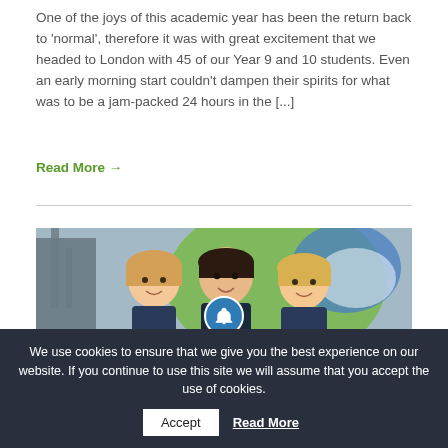One of the joys of this academic year has been the return back to 'normal', therefore it was with great excitement that we headed to London with 45 of our Year 9 and 10 students. Even an early morning start couldn't dampen their spirits for what was to be a jam-packed 24 hours in the [...]
Read More →
[Figure (photo): Three smiling children in front of a colorful world map mural, including a globe graphic. Background shows industrial structure on the left and blue and green tones.]
A-level Results Day 2022
We use cookies to ensure that we give you the best experience on our website. If you continue to use this site we will assume that you accept the use of cookies.